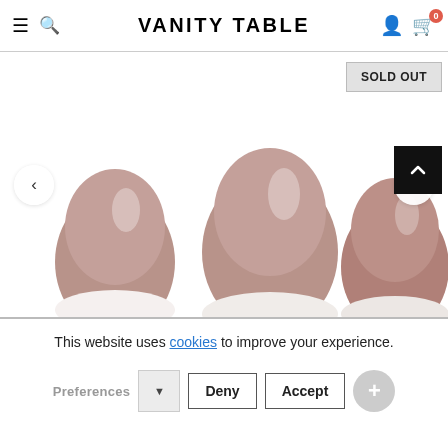VANITY TABLE
[Figure (photo): Close-up photo of several rounded press-on nails in a dusty mauve/taupe color, shown partially cropped with left and right navigation arrows]
SOLD OUT
This website uses cookies to improve your experience.
Preferences  Deny  Accept